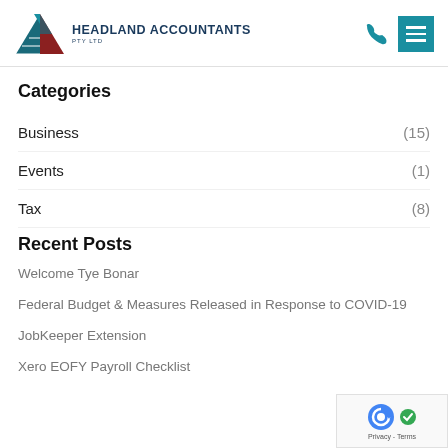[Figure (logo): Headland Accountants Pty Ltd logo with triangular red and teal graphic and company name in navy text]
Categories
Business (15)
Events (1)
Tax (8)
Recent Posts
Welcome Tye Bonar
Federal Budget & Measures Released in Response to COVID-19
JobKeeper Extension
Xero EOFY Payroll Checklist